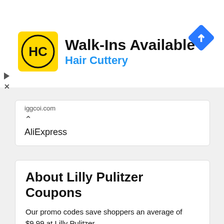[Figure (other): Hair Cuttery advertisement banner with logo, Walk-Ins Available text, and navigation diamond icon]
iggcoi.com
AliExpress
About Lilly Pulitzer Coupons
Our promo codes save shoppers an average of $9.99 at Lilly Pulitzer.
Shopping at Lilly Pulitzer? On our page you will find total 57 promo codes that will help you save. Today's our top Lilly Pulitzer coupon will save you 30% Off at Lilly Pulitzer store.
We last updated new Lilly Pulitzer coupon codes on August 04, 2023. In the last 23 days we have...